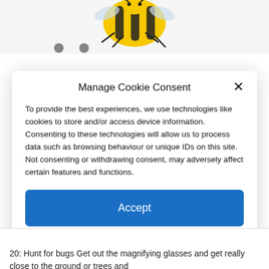[Figure (illustration): Bee mascot illustration at the top of the page, partially visible behind the cookie consent modal]
Manage Cookie Consent
To provide the best experiences, we use technologies like cookies to store and/or access device information. Consenting to these technologies will allow us to process data such as browsing behaviour or unique IDs on this site. Not consenting or withdrawing consent, may adversely affect certain features and functions.
Accept
Deny
View preferences
Cookie Policy   Privacy & Cookie Policy, Terms of Use
20: Hunt for bugs Get out the magnifying glasses and get really close to the ground or trees and